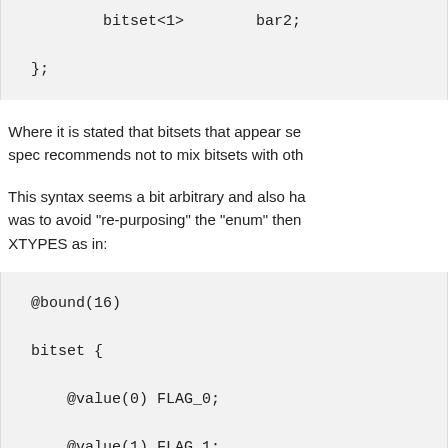[Figure (other): Code block showing: bitset<1> bar2; };]
Where it is stated that bitsets that appear se- spec recommends not to mix bitsets with oth-
This syntax seems a bit arbitrary and also ha- was to avoid "re-purposing" the "enum" then XTYPES as in:
[Figure (other): Code block showing @bound(16) bitset { @value(0) FLAG_0; @value(1) FLAG_1; @value(7) FLAG_7; @value(15) FLAG_LAST; };]